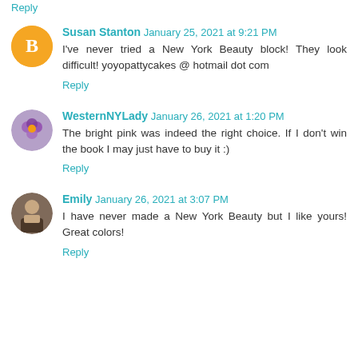Reply
Susan Stanton  January 25, 2021 at 9:21 PM
I've never tried a New York Beauty block! They look difficult! yoyopattycakes @ hotmail dot com
Reply
WesternNYLady  January 26, 2021 at 1:20 PM
The bright pink was indeed the right choice. If I don't win the book I may just have to buy it :)
Reply
Emily  January 26, 2021 at 3:07 PM
I have never made a New York Beauty but I like yours! Great colors!
Reply